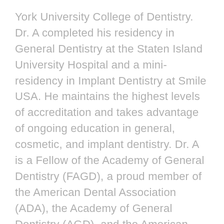York University College of Dentistry. Dr. A completed his residency in General Dentistry at the Staten Island University Hospital and a mini-residency in Implant Dentistry at Smile USA. He maintains the highest levels of accreditation and takes advantage of ongoing education in general, cosmetic, and implant dentistry. Dr. A is a Fellow of the Academy of General Dentistry (FAGD), a proud member of the American Dental Association (ADA), the Academy of General Dentistry (AGD), and the American Academy of Cosmetic Dentistry (AACD). His scope of dental expertise encompasses such procedures as tooth extractions, root canals, restorative crown and bridge treatments, removable dentures, orthodontics, dental implants, full mouth reconstruction, and cosmetic